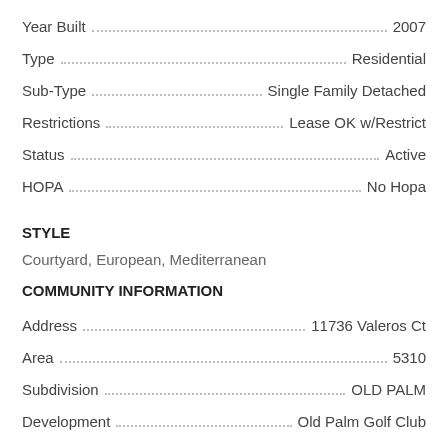Year Built · 2007
Type · Residential
Sub-Type · Single Family Detached
Restrictions · Lease OK w/Restrict
Status · Active
HOPA · No Hopa
STYLE
Courtyard, European, Mediterranean
COMMUNITY INFORMATION
Address · 11736 Valeros Ct
Area · 5310
Subdivision · OLD PALM
Development · Old Palm Golf Club